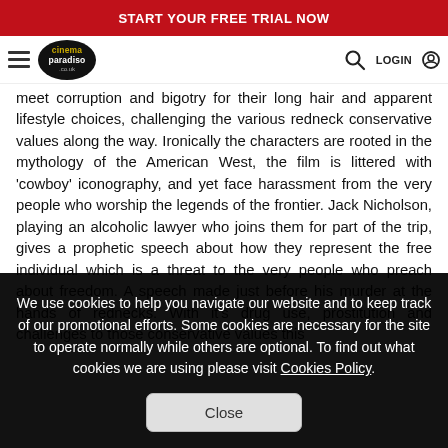START YOUR FREE TRIAL NOW
Cinema Paradiso navigation bar with logo, hamburger menu, search and login
meet corruption and bigotry for their long hair and apparent lifestyle choices, challenging the various redneck conservative values along the way. Ironically the characters are rooted in the mythology of the American West, the film is littered with 'cowboy' iconography, and yet face harassment from the very people who worship the legends of the frontier. Jack Nicholson, playing an alcoholic lawyer who joins them for part of the trip, gives a prophetic speech about how they represent the free individual which is a threat to the very people who preach about freedom. A speech made just before his murder at the hands of rednecks. With it's drug use, prostitution and challenges to those conservative values this
We use cookies to help you navigate our website and to keep track of our promotional efforts. Some cookies are necessary for the site to operate normally while others are optional. To find out what cookies we are using please visit Cookies Policy.
Close